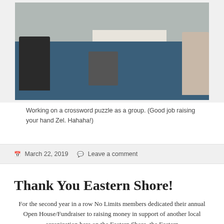[Figure (photo): Indoor photo of people in a room with a blue floor, one person sitting in the lower left, a person on the right side, and a table in the background. A wheelchair is visible in the center background.]
Working on a crossword puzzle as a group.  (Good job raising your hand Zel.  Hahaha!)
March 22, 2019   Leave a comment
Thank You Eastern Shore!
For the second year in a row No Limits members dedicated their annual Open House/Fundraiser to raising money in support of another local organization here on the Eastern Shore, the Eastern